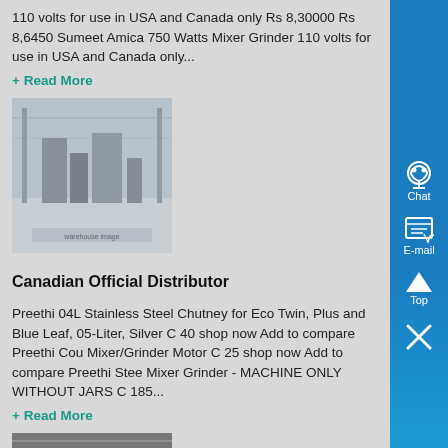110 volts for use in USA and Canada only Rs 8,30000 Rs 8,6450 Sumeet Amica 750 Watts Mixer Grinder 110 volts for use in USA and Canada only...
+ Read More
[Figure (photo): Photo of an industrial warehouse or factory floor with equipment and machinery]
Canadian Official Distributor
Preethi 04L Stainless Steel Chutney for Eco Twin, Plus and Blue Leaf, 05-Liter, Silver C 40 shop now Add to compare Preethi Cou Mixer/Grinder Motor C 25 shop now Add to compare Preethi Stee Mixer Grinder - MACHINE ONLY WITHOUT JARS C 185...
+ Read More
[Figure (photo): Partial view of a product or industrial item at the bottom of the page]